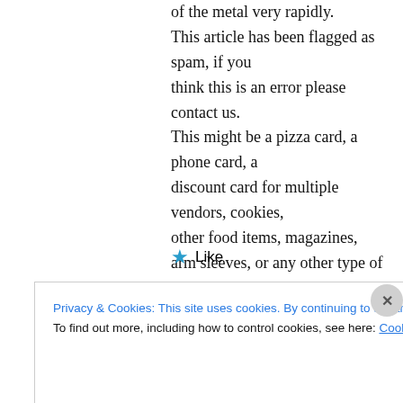of the metal very rapidly. This article has been flagged as spam, if you think this is an error please contact us. This might be a pizza card, a phone card, a discount card for multiple vendors, cookies, other food items, magazines, arm sleeves, or any other type of item that will entice the people in the community.
★ Like
Privacy & Cookies: This site uses cookies. By continuing to use this website, you agree to their use.
To find out more, including how to control cookies, see here: Cookie Policy
Close and accept